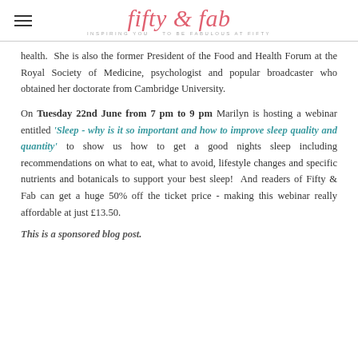fifty & fab — INSPIRING YOU TO BE FABULOUS AT FIFTY
health. She is also the former President of the Food and Health Forum at the Royal Society of Medicine, psychologist and popular broadcaster who obtained her doctorate from Cambridge University.
On Tuesday 22nd June from 7 pm to 9 pm Marilyn is hosting a webinar entitled 'Sleep - why is it so important and how to improve sleep quality and quantity' to show us how to get a good nights sleep including recommendations on what to eat, what to avoid, lifestyle changes and specific nutrients and botanicals to support your best sleep! And readers of Fifty & Fab can get a huge 50% off the ticket price - making this webinar really affordable at just £13.50.
This is a sponsored blog post.